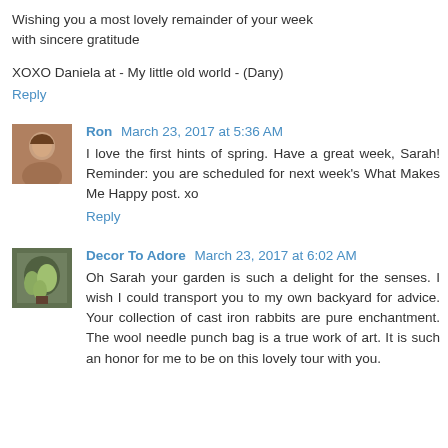Wishing you a most lovely remainder of your week with sincere gratitude
XOXO Daniela at - My little old world - (Dany)
Reply
Ron March 23, 2017 at 5:36 AM
I love the first hints of spring. Have a great week, Sarah! Reminder: you are scheduled for next week's What Makes Me Happy post. xo
Reply
Decor To Adore March 23, 2017 at 6:02 AM
Oh Sarah your garden is such a delight for the senses. I wish I could transport you to my own backyard for advice. Your collection of cast iron rabbits are pure enchantment. The wool needle punch bag is a true work of art. It is such an honor for me to be on this lovely tour with you.